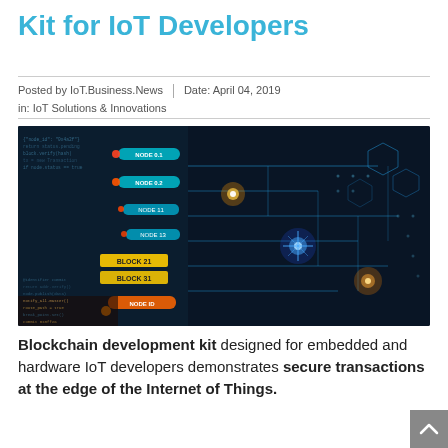Kit for IoT Developers
Posted by IoT.Business.News  |  Date: April 04, 2019  |  in: IoT Solutions & Innovations
[Figure (photo): Blockchain/IoT themed image showing glowing circuit board connections with node labels in blue and orange tones, dark background with blue light effects and circuit pathways]
Blockchain development kit designed for embedded and hardware IoT developers demonstrates secure transactions at the edge of the Internet of Things.